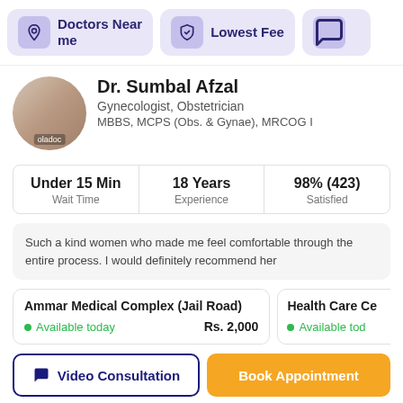[Figure (screenshot): Navigation bar with 'Doctors Near me', 'Lowest Fee', and partial third button on a medical appointment app (oladoc)]
[Figure (photo): Circular profile photo of Dr. Sumbal Afzal with oladoc watermark]
Dr. Sumbal Afzal
Gynecologist, Obstetrician
MBBS, MCPS (Obs. & Gynae), MRCOG I
| Wait Time | Experience | Satisfied |
| --- | --- | --- |
| Under 15 Min | 18 Years | 98% (423) |
Such a kind women who made me feel comfortable through the entire process. I would definitely recommend her
Ammar Medical Complex (Jail Road)
Available today    Rs. 2,000
Health Care Ce...
Available tod...
Video Consultation
Book Appointment